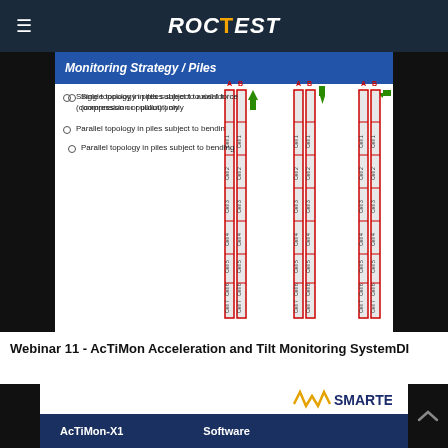ROCTEST
[Figure (screenshot): Monitoring Strategy / Piles slide showing three pile diagrams with cells labeled Cell 1 through Cell 8 with A/B columns and directional arrows. Left side has bullet points about single topology and parallel topology.]
Single topology in piles subject to axial force (compression or pullout) only
Parallel topology in piles subject to bending
Webinar 11 - AcTiMon Acceleration and Tilt Monitoring SystemDI
[Figure (screenshot): Bottom section showing Smartec logo, AcTiMon-X1 label, and Software label on navy background]